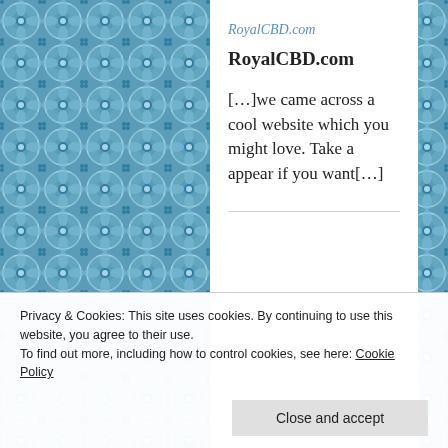[Figure (illustration): Decorative blue and white tile/mosaic pattern border on left and right sides of the page]
RoyalCBD.com
RoyalCBD.com
[…]we came across a cool website which you might love. Take a appear if you want[…]
Privacy & Cookies: This site uses cookies. By continuing to use this website, you agree to their use.
To find out more, including how to control cookies, see here: Cookie Policy
Close and accept